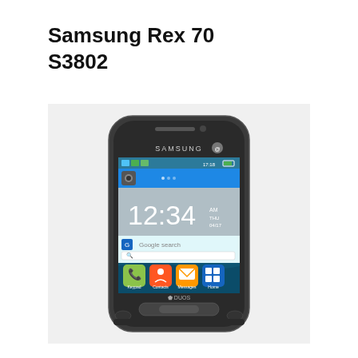Samsung Rex 70 S3802
[Figure (photo): Samsung Rex 70 S3802 smartphone front view showing touchscreen with clock displaying 12:34 AM, Google search bar, and four app icons (Keypad, Contacts, Messages, Home) at the bottom. The phone has a dark gray body with SAMSUNG branding and DUOS label.]